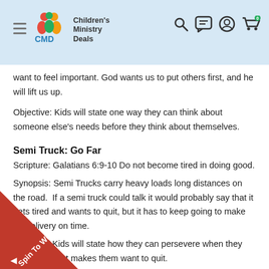Children's Ministry Deals — navigation header
want to feel important. God wants us to put others first, and he will lift us up.
Objective: Kids will state one way they can think about someone else's needs before they think about themselves.
Semi Truck: Go Far
Scripture: Galatians 6:9-10 Do not become tired in doing good.
Synopsis: Semi Trucks carry heavy loads long distances on the road.  If a semi truck could talk it would probably say that it gets tired and wants to quit, but it has to keep going to make it's delivery on time.
Objective: Kids will state how they can persevere when they something that makes them want to quit.